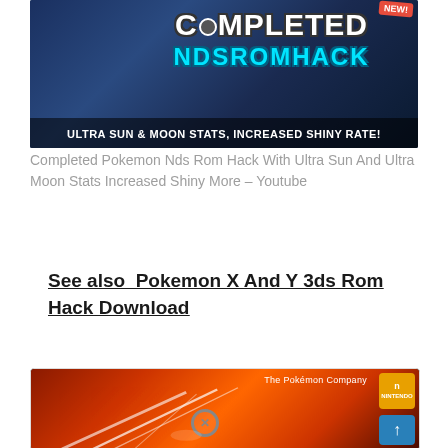[Figure (screenshot): Thumbnail image showing an anime Pokemon trainer character with text 'Completed NDS ROM Hack' and 'Ultra Sun & Moon Stats, Increased Shiny Rate!' banner]
Completed Pokemon Nds Rom Hack With Ultra Sun And Ultra Moon Stats Increased Shiny More – Youtube
See also  Pokemon X And Y 3ds Rom Hack Download
[Figure (screenshot): Pokemon game cover art showing a legendary Pokemon on orange/red background with The Pokemon Company branding and Nintendo badge]